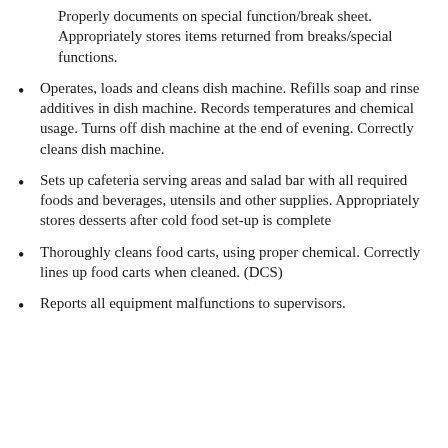Properly documents on special function/break sheet. Appropriately stores items returned from breaks/special functions.
Operates, loads and cleans dish machine. Refills soap and rinse additives in dish machine. Records temperatures and chemical usage. Turns off dish machine at the end of evening. Correctly cleans dish machine.
Sets up cafeteria serving areas and salad bar with all required foods and beverages, utensils and other supplies. Appropriately stores desserts after cold food set-up is complete
Thoroughly cleans food carts, using proper chemical. Correctly lines up food carts when cleaned. (DCS)
Reports all equipment malfunctions to supervisors.